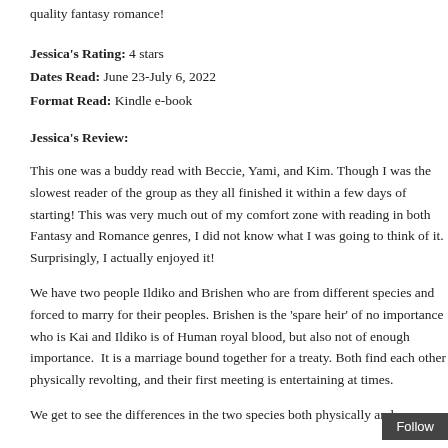quality fantasy romance!
Jessica's Rating: 4 stars
Dates Read: June 23-July 6, 2022
Format Read: Kindle e-book
Jessica's Review:
This one was a buddy read with Beccie, Yami, and Kim. Though I was the slowest reader of the group as they all finished it within a few days of starting! This was very much out of my comfort zone with reading in both Fantasy and Romance genres, I did not know what I was going to think of it. Surprisingly, I actually enjoyed it!
We have two people Ildiko and Brishen who are from different species and forced to marry for their peoples. Brishen is the 'spare heir' of no importance who is Kai and Ildiko is of Human royal blood, but also not of enough importance. It is a marriage bound together for a treaty. Both find each other physically revolting, and their first meeting is entertaining at times.
We get to see the differences in the two species both physically and…